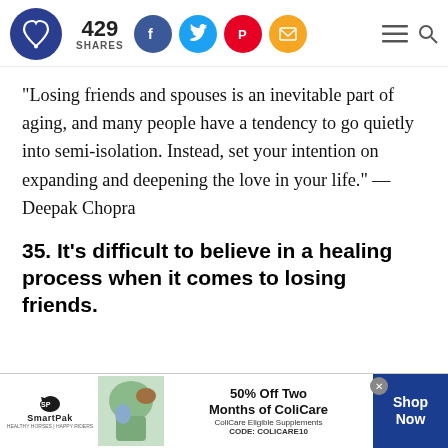429 SHARES — social sharing bar with Facebook, Twitter, Pinterest, Email icons
"Losing friends and spouses is an inevitable part of aging, and many people have a tendency to go quietly into semi-isolation. Instead, set your intention on expanding and deepening the love in your life." — Deepak Chopra
35. It's difficult to believe in a healing process when it comes to losing friends.
[Figure (infographic): SmartPak advertisement banner: 50% Off Two Months of ColiCare, ColiCare Eligible Supplements, CODE: COLICARE10, Shop Now button]